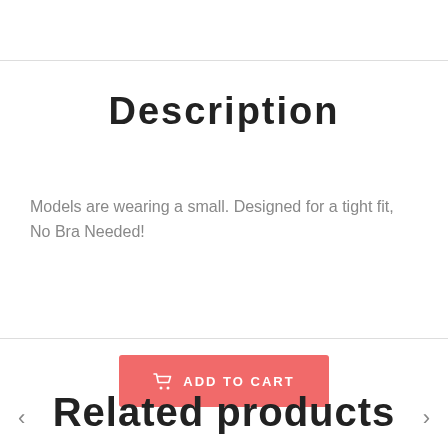Description
Models are wearing a small. Designed for a tight fit, No Bra Needed!
ADD TO CART
Related products